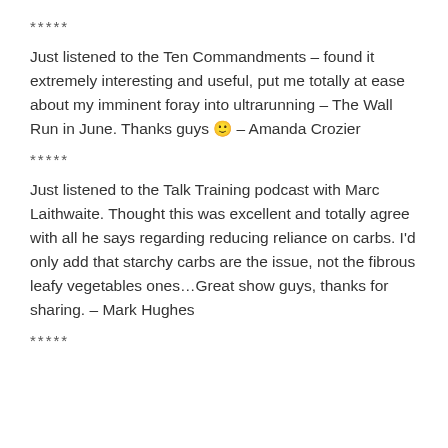*****
Just listened to the Ten Commandments – found it extremely interesting and useful, put me totally at ease about my imminent foray into ultrarunning – The Wall Run in June. Thanks guys 🙂 – Amanda Crozier
*****
Just listened to the Talk Training podcast with Marc Laithwaite. Thought this was excellent and totally agree with all he says regarding reducing reliance on carbs. I'd only add that starchy carbs are the issue, not the fibrous leafy vegetables ones...Great show guys, thanks for sharing. – Mark Hughes
*****